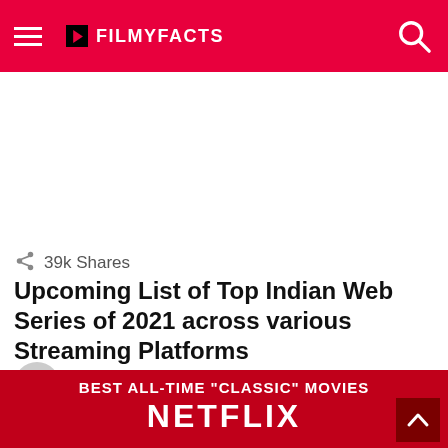FILMYFACTS
39k Shares
Upcoming List of Top Indian Web Series of 2021 across various Streaming Platforms
by deep
about a year ago
[Figure (screenshot): BEST ALL-TIME "CLASSIC" MOVIES NETFLIX banner image in red]